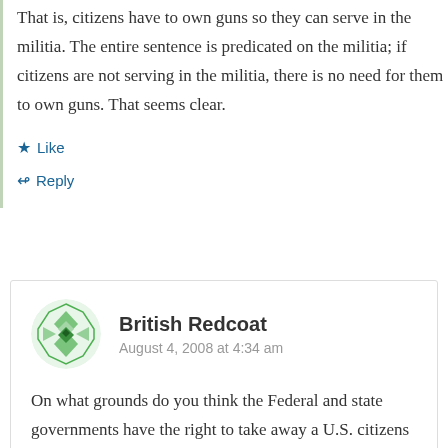That is, citizens have to own guns so they can serve in the militia. The entire sentence is predicated on the militia; if citizens are not serving in the militia, there is no need for them to own guns. That seems clear.
★ Like
↳ Reply
British Redcoat
August 4, 2008 at 4:34 am
On what grounds do you think the Federal and state governments have the right to take away a U.S. citizens basic right to self-defense? This right is